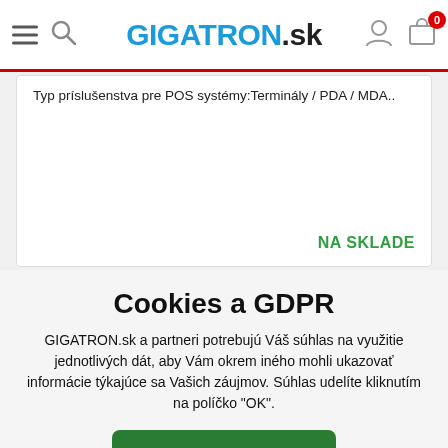GIGATRON.sk
Typ príslušenstva pre POS systémy:Terminály / PDA / MDA..
NA SKLADE
Cookies a GDPR
GIGATRON.sk a partneri potrebujú Váš súhlas na využitie jednotlivých dát, aby Vám okrem iného mohli ukazovať informácie týkajúce sa Vašich záujmov. Súhlas udelíte kliknutím na políčko "OK".
OK
Podrobné nastavenia